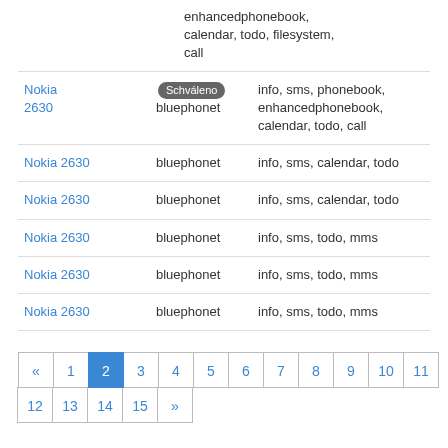| Device | Driver | Features |
| --- | --- | --- |
| (continued) |  | enhancedphonebook, calendar, todo, filesystem, call |
| Nokia 2630 [Schváleno] | bluephonet | info, sms, phonebook, enhancedphonebook, calendar, todo, call |
| Nokia 2630 | bluephonet | info, sms, calendar, todo |
| Nokia 2630 | bluephonet | info, sms, calendar, todo |
| Nokia 2630 | bluephonet | info, sms, todo, mms |
| Nokia 2630 | bluephonet | info, sms, todo, mms |
| Nokia 2630 | bluephonet | info, sms, todo, mms |
« 1 2 3 4 5 6 7 8 9 10 11 12 13 14 15 »